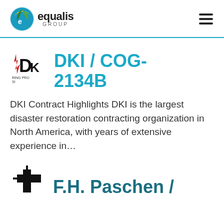[Figure (logo): Equalis Group logo with circular icon (green/yellow/blue leaf) and text 'equalis GROUP']
DKI / COG-2134B
DKI Contract Highlights DKI is the largest disaster restoration contracting organization in North America, with years of extensive experience in…
[Figure (logo): F.H. Paschen company logo with black cross/plus icon]
F.H. Paschen /